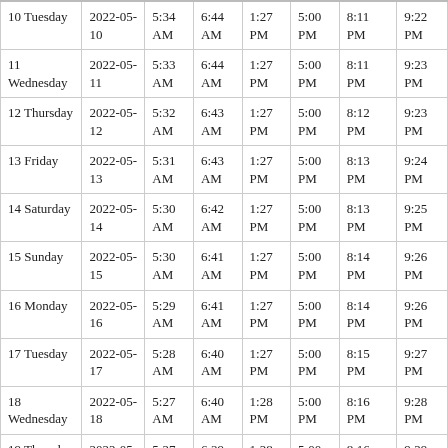| 10 Tuesday | 2022-05-10 | 5:34 AM | 6:44 AM | 1:27 PM | 5:00 PM | 8:11 PM | 9:22 PM |
| 11 Wednesday | 2022-05-11 | 5:33 AM | 6:44 AM | 1:27 PM | 5:00 PM | 8:11 PM | 9:23 PM |
| 12 Thursday | 2022-05-12 | 5:32 AM | 6:43 AM | 1:27 PM | 5:00 PM | 8:12 PM | 9:23 PM |
| 13 Friday | 2022-05-13 | 5:31 AM | 6:43 AM | 1:27 PM | 5:00 PM | 8:13 PM | 9:24 PM |
| 14 Saturday | 2022-05-14 | 5:30 AM | 6:42 AM | 1:27 PM | 5:00 PM | 8:13 PM | 9:25 PM |
| 15 Sunday | 2022-05-15 | 5:30 AM | 6:41 AM | 1:27 PM | 5:00 PM | 8:14 PM | 9:26 PM |
| 16 Monday | 2022-05-16 | 5:29 AM | 6:41 AM | 1:27 PM | 5:00 PM | 8:14 PM | 9:26 PM |
| 17 Tuesday | 2022-05-17 | 5:28 AM | 6:40 AM | 1:27 PM | 5:00 PM | 8:15 PM | 9:27 PM |
| 18 Wednesday | 2022-05-18 | 5:27 AM | 6:40 AM | 1:28 PM | 5:00 PM | 8:16 PM | 9:28 PM |
| 19 Thursday | 2022-05-19 | 5:27 AM | 6:39 AM | 1:28 PM | 5:00 PM | 8:16 PM | 9:29 PM |
|  | 2022-05- | 5:26 | 6:38 | 1:28 | 5:00 |  | 9:29 |